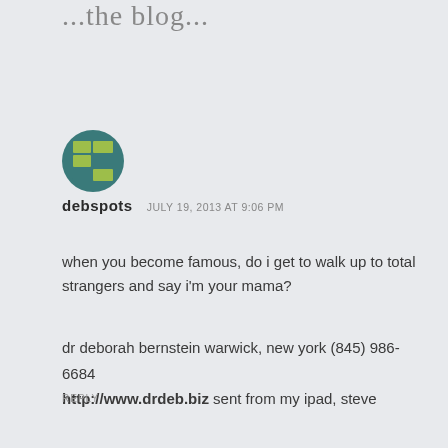...the blog...
[Figure (illustration): Circular avatar icon with a green grid/mosaic pattern on a teal/dark teal background border]
debspots   JULY 19, 2013 AT 9:06 PM
when you become famous, do i get to walk up to total strangers and say i'm your mama?
dr deborah bernstein warwick, new york (845) 986-6684 http://www.drdeb.biz sent from my ipad, steve
REPLY